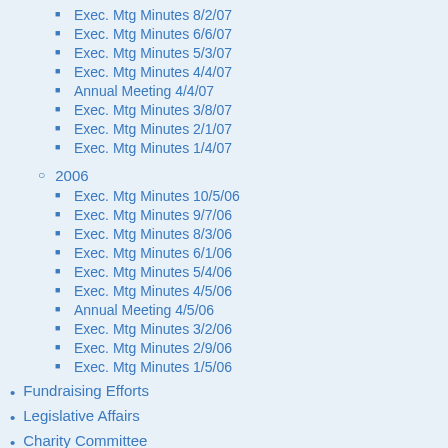Exec. Mtg Minutes 8/2/07
Exec. Mtg Minutes 6/6/07
Exec. Mtg Minutes 5/3/07
Exec. Mtg Minutes 4/4/07
Annual Meeting 4/4/07
Exec. Mtg Minutes 3/8/07
Exec. Mtg Minutes 2/1/07
Exec. Mtg Minutes 1/4/07
2006
Exec. Mtg Minutes 10/5/06
Exec. Mtg Minutes 9/7/06
Exec. Mtg Minutes 8/3/06
Exec. Mtg Minutes 6/1/06
Exec. Mtg Minutes 5/4/06
Exec. Mtg Minutes 4/5/06
Annual Meeting 4/5/06
Exec. Mtg Minutes 3/2/06
Exec. Mtg Minutes 2/9/06
Exec. Mtg Minutes 1/5/06
Fundraising Efforts
Legislative Affairs
Charity Committee